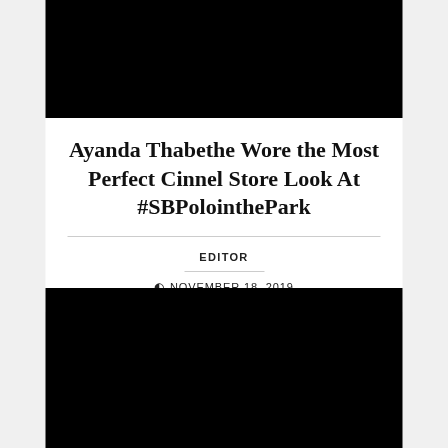[Figure (photo): Black rectangular image area at the top of the page]
Ayanda Thabethe Wore the Most Perfect Cinnel Store Look At #SBPolointhePark
EDITOR
© NOVEMBER 18, 2019
[Figure (photo): Black rectangular image area at the bottom of the page]